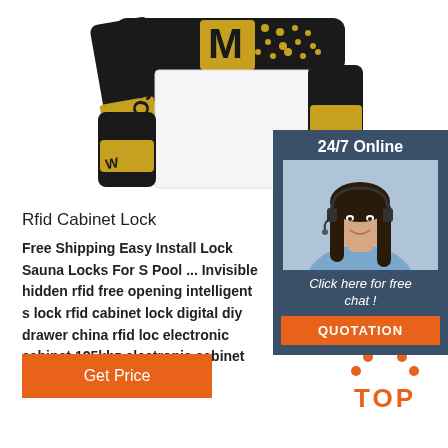[Figure (photo): RFID wristband/bracelet product photo showing black and gold glittery fabric wristband with card holder]
[Figure (photo): 24/7 Online customer service agent - woman with headset smiling, shown in dark teal sidebar overlay]
Rfid Cabinet Lock
Free Shipping Easy Install Lock Sauna Locks For S Pool ... Invisible hidden rfid free opening intelligent s lock rfid cabinet lock digital diy drawer china rfid loc electronic cabinet 125khz electronic cabinet lock ma card rfid.
Click here for free chat !
QUOTATION
Get Price
[Figure (logo): TOP logo with orange dots arranged in triangle/arch above the word TOP in orange]